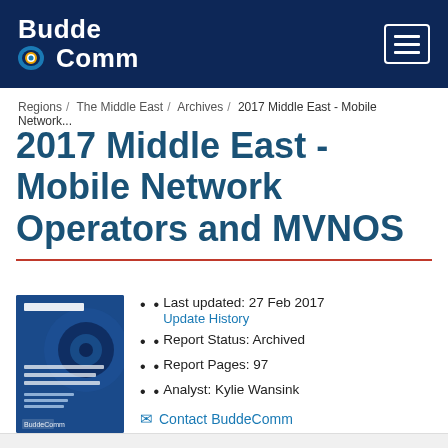BuddeComm
Regions / The Middle East / Archives / 2017 Middle East - Mobile Network...
2017 Middle East - Mobile Network Operators and MVNOS
[Figure (illustration): BuddeComm Research report cover — blue cover with BuddeComm logo and subtitle 'Telecoms, Mobile and Broadband - Statistics and Analysis']
Last updated: 27 Feb 2017
Update History
Report Status: Archived
Report Pages: 97
Analyst: Kylie Wansink
✉ Contact BuddeComm